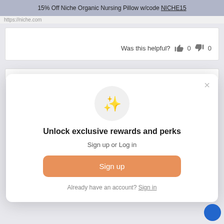15% Off Niche Organic Nursing Pillow w/code NICHE15
Was this helpful? 👍 0 👎 0
Unlock exclusive rewards and perks
Sign up or Log in
Sign up
Already have an account? Sign in